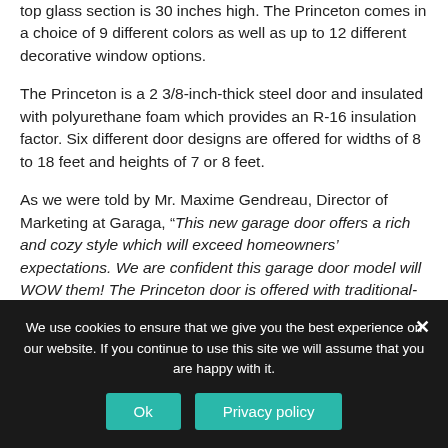top glass section is 30 inches high. The Princeton comes in a choice of 9 different colors as well as up to 12 different decorative window options.
The Princeton is a 2 3/8-inch-thick steel door and insulated with polyurethane foam which provides an R-16 insulation factor. Six different door designs are offered for widths of 8 to 18 feet and heights of 7 or 8 feet.
As we were told by Mr. Maxime Gendreau, Director of Marketing at Garaga, “This new garage door offers a rich and cozy style which will exceed homeowners’ expectations. We are confident this garage door model will WOW them! The Princeton door is offered with traditional-style as well as carriage-house overlay configurations.”
We use cookies to ensure that we give you the best experience on our website. If you continue to use this site we will assume that you are happy with it.